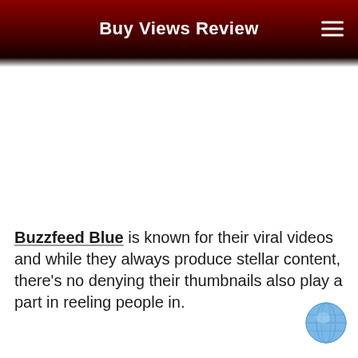Buy Views Review
Buzzfeed Blue is known for their viral videos and while they always produce stellar content, there's no denying their thumbnails also play a part in reeling people in.